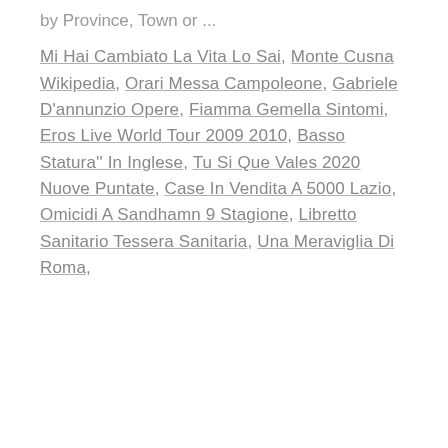by Province, Town or ...
Mi Hai Cambiato La Vita Lo Sai, Monte Cusna Wikipedia, Orari Messa Campoleone, Gabriele D'annunzio Opere, Fiamma Gemella Sintomi, Eros Live World Tour 2009 2010, Basso Statura'' In Inglese, Tu Si Que Vales 2020 Nuove Puntate, Case In Vendita A 5000 Lazio, Omicidi A Sandhamn 9 Stagione, Libretto Sanitario Tessera Sanitaria, Una Meraviglia Di Roma,